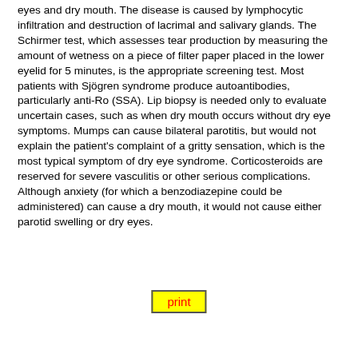eyes and dry mouth. The disease is caused by lymphocytic infiltration and destruction of lacrimal and salivary glands. The Schirmer test, which assesses tear production by measuring the amount of wetness on a piece of filter paper placed in the lower eyelid for 5 minutes, is the appropriate screening test. Most patients with Sjögren syndrome produce autoantibodies, particularly anti-Ro (SSA). Lip biopsy is needed only to evaluate uncertain cases, such as when dry mouth occurs without dry eye symptoms. Mumps can cause bilateral parotitis, but would not explain the patient's complaint of a gritty sensation, which is the most typical symptom of dry eye syndrome. Corticosteroids are reserved for severe vasculitis or other serious complications. Although anxiety (for which a benzodiazepine could be administered) can cause a dry mouth, it would not cause either parotid swelling or dry eyes.
print